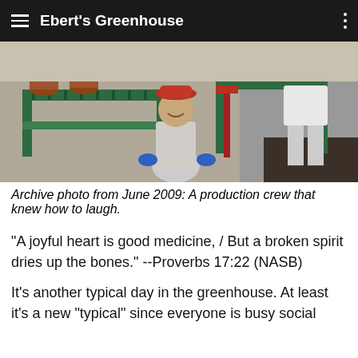Ebert's Greenhouse
[Figure (photo): Workers at a greenhouse production line with green metal conveyors and potted plants; a smiling worker in a red hat and blue gloves poses in the center.]
Archive photo from June 2009: A production crew that knew how to laugh.
“A joyful heart is good medicine, / But a broken spirit dries up the bones.” --Proverbs 17:22 (NASB)
It’s another typical day in the greenhouse. At least it’s a new “typical” since everyone is busy social